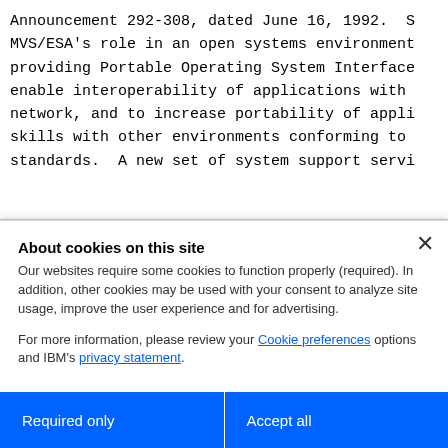Announcement 292-308, dated June 16, 1992. S MVS/ESA's role in an open systems environment providing Portable Operating System Interface enable interoperability of applications with network, and to increase portability of appli skills with other environments conforming to standards.  A new set of system support servi
About cookies on this site
Our websites require some cookies to function properly (required). In addition, other cookies may be used with your consent to analyze site usage, improve the user experience and for advertising.
For more information, please review your Cookie preferences options and IBM's privacy statement.
Required only
Accept all